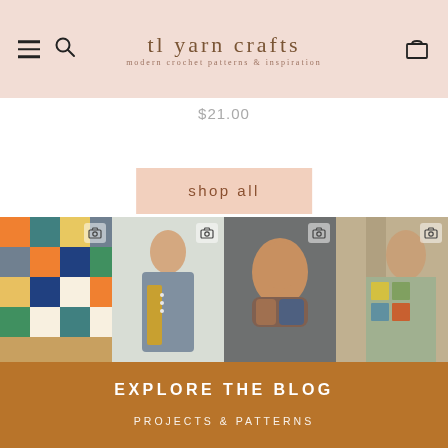tl yarn crafts — modern crochet patterns & inspiration
$21.00
shop all
[Figure (photo): Four Instagram-style photos of crochet items: colorful granny-square blanket, woman in blue crochet cardigan, woman wearing colorful crochet cowl, woman in granny-square sweater]
EXPLORE THE BLOG
PROJECTS & PATTERNS